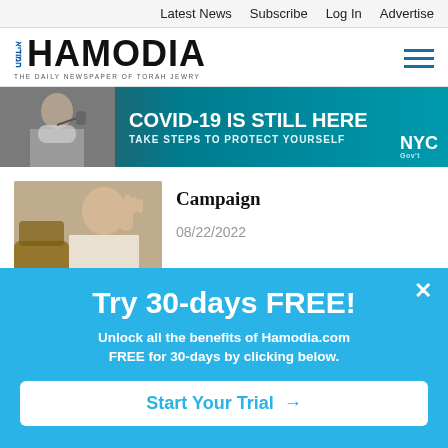Latest News  Subscribe  Log In  Advertise
[Figure (logo): Hamodia logo with Hebrew text and tagline 'THE DAILY NEWSPAPER OF TORAH JEWRY']
[Figure (infographic): NYC COVID-19 banner ad: 'COVID-19 IS STILL HERE — TAKE STEPS TO PROTECT YOURSELF' with photo of masked person on phone]
Campaign
08/22/2022
[Figure (photo): Person waving hand at a podium or meeting]
Netanyahu Urges Right-
[Figure (photo): Israeli political campaign poster with Netanyahu image and a man in foreground]
Try 30-days FREE!
Unlock all the benefits of Hamodia.com FREE for 30-days by clicking below.
Start Your Trial →